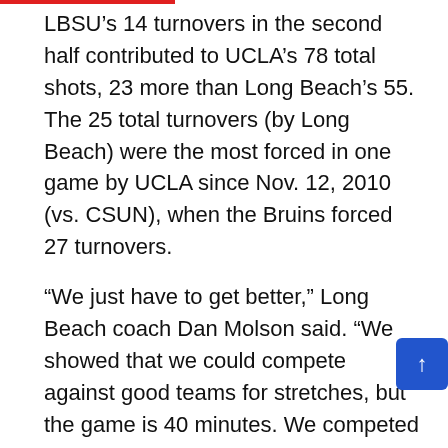LBSU's 14 turnovers in the second half contributed to UCLA's 78 total shots, 23 more than Long Beach's 55. The 25 total turnovers (by Long Beach) were the most forced in one game by UCLA since Nov. 12, 2010 (vs. CSUN), when the Bruins forced 27 turnovers.
“We just have to get better,” Long Beach coach Dan Molson said. “We showed that we could compete against good teams for stretches, but the game is 40 minutes. We competed well in large stretches, but we just have to put it all together.”
The Bruins’ narrow 48-45 lead at halftime ballooned to a 14-point lead after they started the second half on a 16-5 run. Their suffocating defense, which didn’t to make an appearance in the first half, was finally display. The Bruins led 78-62 after a Jaquez Jr. layup at